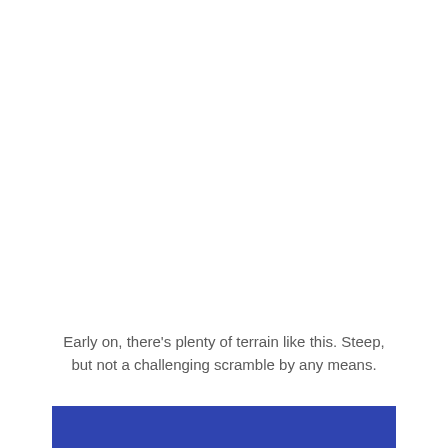Early on, there's plenty of terrain like this. Steep, but not a challenging scramble by any means.
[Figure (other): Blue decorative bar at the bottom of the page]